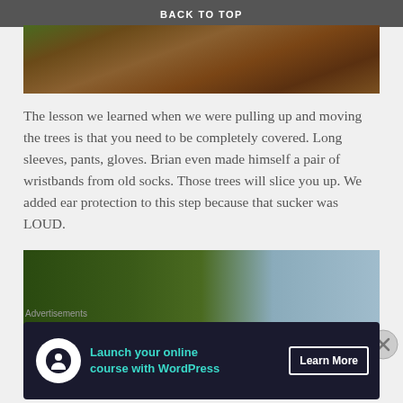BACK TO TOP
[Figure (photo): Aerial view of churned brown soil and mulch with some green grass patches, showing ground after tree removal.]
The lesson we learned when we were pulling up and moving the trees is that you need to be completely covered. Long sleeves, pants, gloves. Brian even made himself a pair of wristbands from old socks. Those trees will slice you up. We added ear protection to this step because that sucker was LOUD.
[Figure (photo): Looking up at large tree canopy against a partly cloudy blue sky.]
Advertisements
[Figure (other): Advertisement banner: Launch your online course with WordPress — Learn More button, dark background with teal text.]